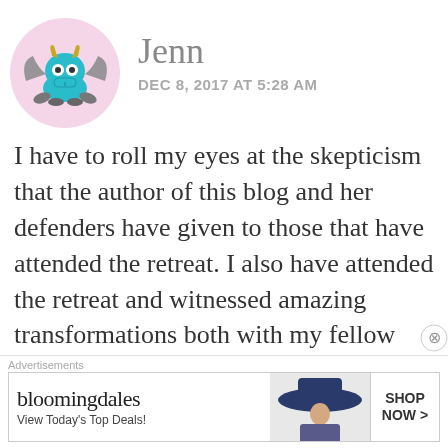[Figure (illustration): Round pink avatar with a cartoon monster/dragon character — teal body, yellow horns, bat wings, gray hands]
Jenn
DEC 8, 2017 AT 5:28 AM
I have to roll my eyes at the skepticism that the author of this blog and her defenders have given to those that have attended the retreat. I also have attended the retreat and witnessed amazing transformations both with my fellow attendees and within myself. You keep fishing for a “counter article”, but b
Advertisements
[Figure (screenshot): Bloomingdale's advertisement banner with logo, 'View Today's Top Deals!' text, image of woman with hat, and 'SHOP NOW >' button]